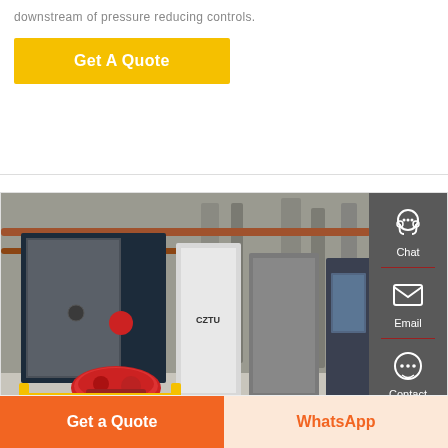downstream of pressure reducing controls.
Get A Quote
[Figure (photo): Industrial steam boilers in a factory setting, showing multiple large boiler units including dark blue boilers and white boilers with red burner equipment and yellow safety rails]
Main Types Of Steam Boiler
Get a Quote
WhatsApp